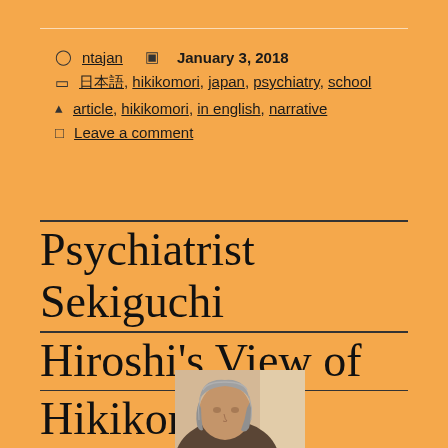ntajan   January 3, 2018
日本語, hikikomori, japan, psychiatry, school
article, hikikomori, in english, narrative
Leave a comment
Psychiatrist Sekiguchi Hiroshi's View of Hikikomori
[Figure (photo): Photograph of an older person with grey hair, partially visible, cropped at bottom of page]